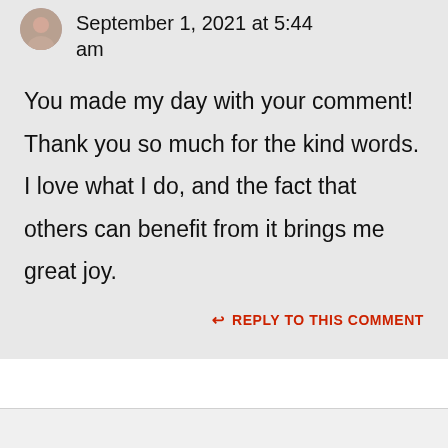September 1, 2021 at 5:44 am
You made my day with your comment! Thank you so much for the kind words. I love what I do, and the fact that others can benefit from it brings me great joy.
↩ REPLY TO THIS COMMENT